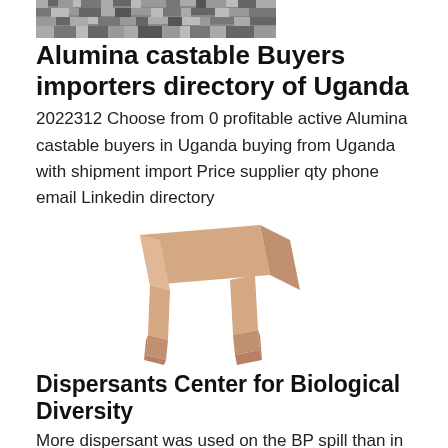[Figure (photo): Black and white textured photo, appears to show foliage or tree bark, cropped at top]
Alumina castable Buyers importers directory of Uganda
2022312 Choose from 0 profitable active Alumina castable buyers in Uganda buying from Uganda with shipment import Price supplier qty phone email Linkedin directory
[Figure (photo): Product photo of alumina castable brick/refractory block in beige/peach color, shaped like an arch or bridge form]
Dispersants Center for Biological Diversity
More dispersant was used on the BP spill than in any other oil spill in US history Moreover for the first time ever the EPA approved using dispersants not only at the surface but deep underwater at the source of the spill Approximately 1.84 million gallons